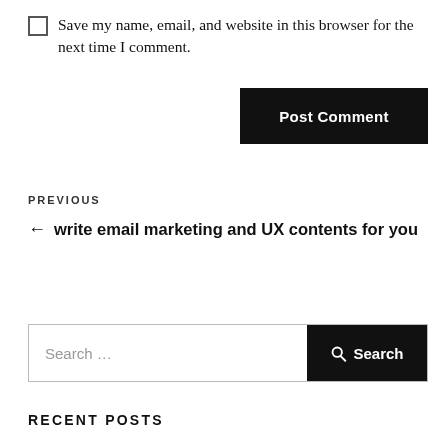Save my name, email, and website in this browser for the next time I comment.
Post Comment
PREVIOUS
← write email marketing and UX contents for you
Search ...
Search
RECENT POSTS